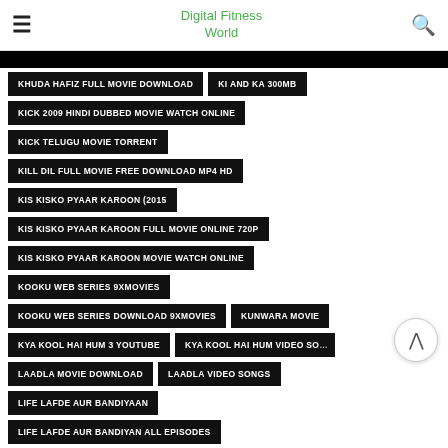Digital Fitness World
KHUDA HAFIZ FULL MOVIE DOWNLOAD
KI AND KA 300MB
KICK 2009 HINDI DUBBED MOVIE WATCH ONLINE
KICK TELUGU MOVIE TORRENT
KILL DIL FULL MOVIE FREE DOWNLOAD MP4 HD
KIS KISKO PYAAR KAROON (2015
KIS KISKO PYAAR KAROON FULL MOVIE ONLINE 720P
KIS KISKO PYAAR KAROON MOVIE WATCH ONLINE
KOOKU WEB SERIES 9XMOVIES
KOOKU WEB SERIES DOWNLOAD 9XMOVIES
KUNWARA MOVIE
KYA KOOL HAI HUM 3 YOUTUBE
KYA KOOL HAI HUM VIDEO SO…
LAADLA MOVIE DOWNLOAD
LAADLA VIDEO SONGS
LIFE LAFDE AUR BANDIYAAN
LIFE LAFDE AUR BANDIYAN ALL EPISODES